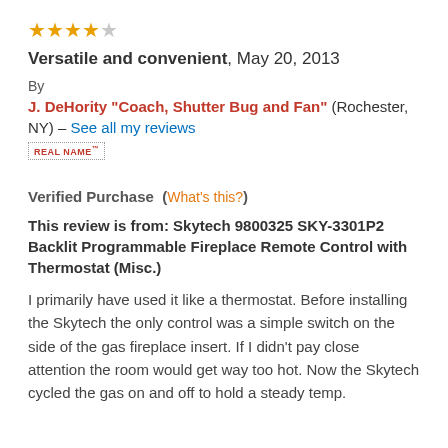[Figure (other): 4 out of 5 stars rating (4 filled stars, 1 empty star)]
Versatile and convenient, May 20, 2013
By
J. DeHority "Coach, Shutter Bug and Fan" (Rochester, NY) – See all my reviews
REAL NAME™
Verified Purchase  (What's this?)
This review is from: Skytech 9800325 SKY-3301P2 Backlit Programmable Fireplace Remote Control with Thermostat (Misc.)
I primarily have used it like a thermostat. Before installing the Skytech the only control was a simple switch on the side of the gas fireplace insert. If I didn't pay close attention the room would get way too hot. Now the Skytech cycled the gas on and off to hold a steady temp.